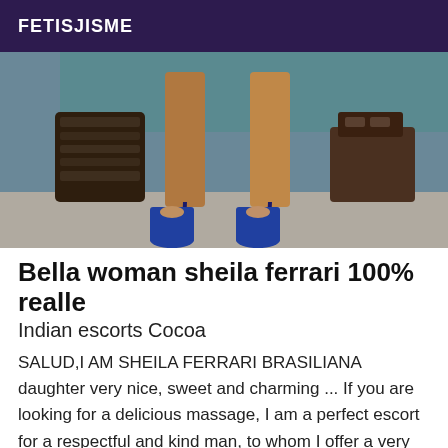FETISJISME
[Figure (photo): Photo of woman's legs wearing blue high heels, standing near wicker basket and wooden boxes on a gray floor.]
Bella woman sheila ferrari 100% realle
Indian escorts Cocoa
SALUD,I AM SHEILA FERRARI BRASILIANA daughter very nice, sweet and charming ... If you are looking for a delicious massage, I am a perfect escort for a respectful and kind man, to whom I offer a very exclusive service. My massages are unforgettable and my company is truly exceptional. I love meeting new people and sharing exciting adventures together. I am very mingonious,